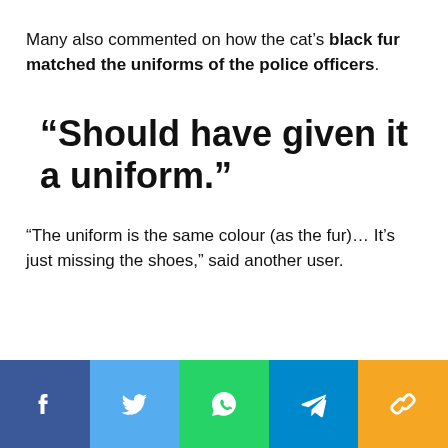Many also commented on how the cat's black fur matched the uniforms of the police officers.
“Should have given it a uniform.”
“The uniform is the same colour (as the fur)… It’s just missing the shoes,” said another user.
[Figure (infographic): Social sharing bar with five buttons: Facebook (dark blue), Twitter (light blue), WhatsApp (green), Telegram (blue), and a chain/link icon (amber/yellow)]